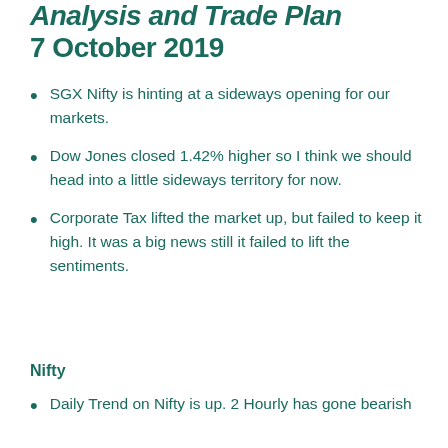Analysis and Trade Plan 7 October 2019
SGX Nifty is hinting at a sideways opening for our markets.
Dow Jones closed 1.42% higher so I think we should head into a little sideways territory for now.
Corporate Tax lifted the market up, but failed to keep it high. It was a big news still it failed to lift the sentiments.
Nifty
Daily Trend on Nifty is up. 2 Hourly has gone bearish